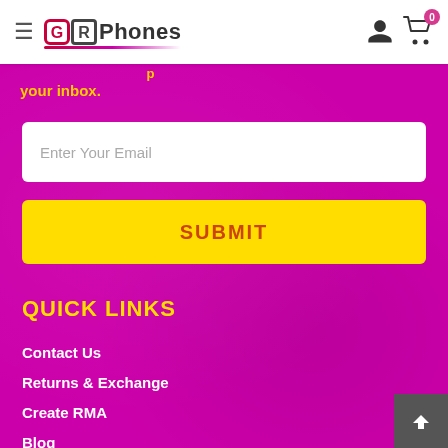GRPhones header with hamburger menu, logo, user icon, cart icon with badge 0
your inbox.
Enter Your Email
SUBMIT
QUICK LINKS
Contact Us
Returns & Exchange
Create RMA
Blog